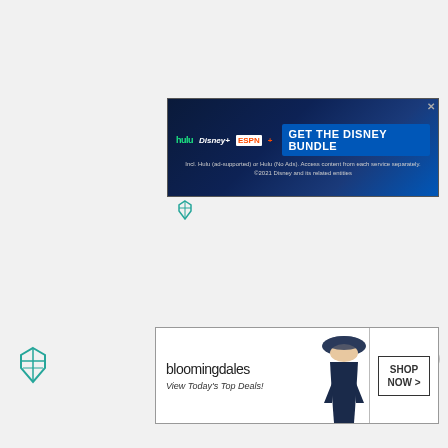[Figure (infographic): Disney Bundle advertisement banner featuring Hulu, Disney+, and ESPN+ logos with 'GET THE DISNEY BUNDLE' call to action button and fine print text]
[Figure (logo): Small teal/green Feather or Frontpage icon symbol]
[Figure (logo): Larger teal/green Feather or Frontpage icon symbol on left side]
[Figure (other): Gray circle with X close button on right side]
[Figure (infographic): Bloomingdales advertisement banner with logo, 'View Today's Top Deals!' tagline, model photo, and 'SHOP NOW >' button]